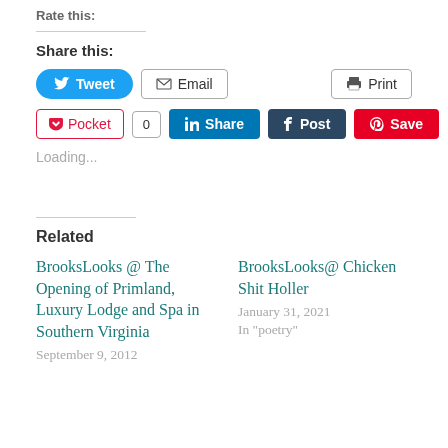Rate this:
Share this:
[Figure (screenshot): Social share buttons row 1: Tweet (blue), Email, Print]
[Figure (screenshot): Social share buttons row 2: Pocket with count 0, LinkedIn Share, Tumblr Post, Pinterest Save]
Loading...
Related
BrooksLooks @ The Opening of Primland, Luxury Lodge and Spa in Southern Virginia
September 9, 2012
BrooksLooks@ Chicken Shit Holler
January 31, 2021
In "poetry"